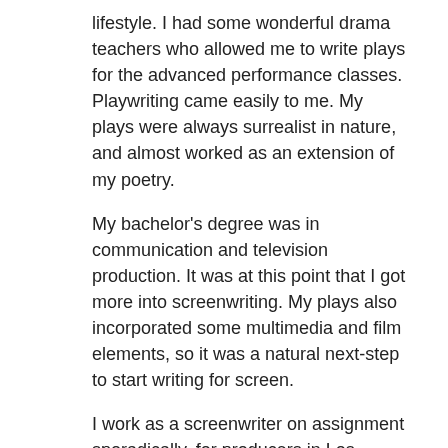lifestyle. I had some wonderful drama teachers who allowed me to write plays for the advanced performance classes. Playwriting came easily to me. My plays were always surrealist in nature, and almost worked as an extension of my poetry.
My bachelor's degree was in communication and television production. It was at this point that I got more into screenwriting. My plays also incorporated some multimedia and film elements, so it was a natural next-step to start writing for screen.
I work as a screenwriter on assignment sporadically, for producers in Los Angeles, London, New York, and Australia. And I'm working on a new collection of poems right now.
Any parting advice for readers of The Bloomsbury Introduction to Creative Writing?
Yes. If you're a writer, write. Read. Work hard. Expect to